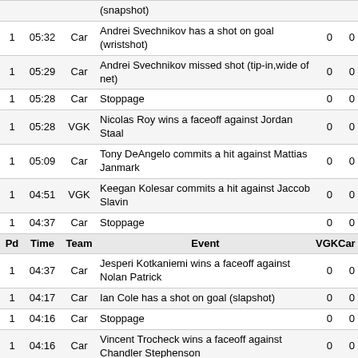| Pd | Time | Team | Event | VGK | Car |
| --- | --- | --- | --- | --- | --- |
|  |  |  | (snapshot) |  |  |
| 1 | 05:32 | Car | Andrei Svechnikov has a shot on goal (wristshot) | 0 | 0 |
| 1 | 05:29 | Car | Andrei Svechnikov missed shot (tip-in,wide of net) | 0 | 0 |
| 1 | 05:28 | Car | Stoppage | 0 | 0 |
| 1 | 05:28 | VGK | Nicolas Roy wins a faceoff against Jordan Staal | 0 | 0 |
| 1 | 05:09 | Car | Tony DeAngelo commits a hit against Mattias Janmark | 0 | 0 |
| 1 | 04:51 | VGK | Keegan Kolesar commits a hit against Jaccob Slavin | 0 | 0 |
| 1 | 04:37 | Car | Stoppage | 0 | 0 |
| 1 | 04:37 | Car | Jesperi Kotkaniemi wins a faceoff against Nolan Patrick | 0 | 0 |
| 1 | 04:17 | Car | Ian Cole has a shot on goal (slapshot) | 0 | 0 |
| 1 | 04:16 | Car | Stoppage | 0 | 0 |
| 1 | 04:16 | Car | Vincent Trocheck wins a faceoff against Chandler Stephenson | 0 | 0 |
| 1 | 04:14 | VGK | Mark Stone has a takeaway | 0 | 0 |
| 1 | 04:04 | Car | Martin Necas has a takeaway | 0 | 0 |
| 1 | 04:00 | Car | Brett Pesce missed shot (slapshot,over net) | 0 | 0 |